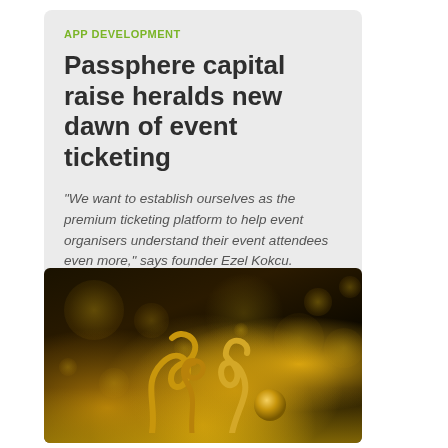APP DEVELOPMENT
Passphere capital raise heralds new dawn of event ticketing
“We want to establish ourselves as the premium ticketing platform to help event organisers understand their event attendees even more,” says founder Ezel Kokcu.
[Figure (photo): Dark background with golden bokeh light circles and gold curly ribbon streamers resting on a glittering gold surface]